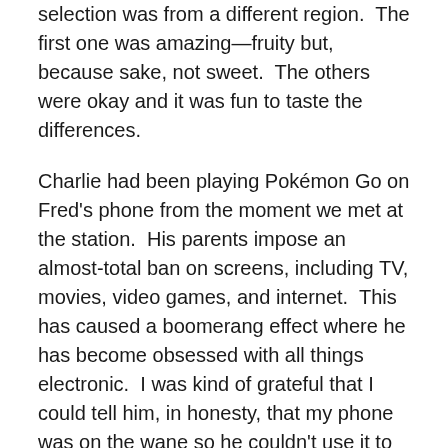selection was from a different region.  The first one was amazing—fruity but, because sake, not sweet.  The others were okay and it was fun to taste the differences.
Charlie had been playing Pokémon Go on Fred's phone from the moment we met at the station.  His parents impose an almost-total ban on screens, including TV, movies, video games, and internet.  This has caused a boomerang effect where he has become obsessed with all things electronic.  I was kind of grateful that I could tell him, in honesty, that my phone was on the wane so he couldn't use it to watch YouTube videos or play games.
Occasionally Fred or Hiromi would ask Charlie a question and I loved that he responded unselfconsciously in Japanese. He had been working hard in Japanese school, in Minnesota, and here, in immersion.  He deserved some mindless Pokémon Go off-leash time.